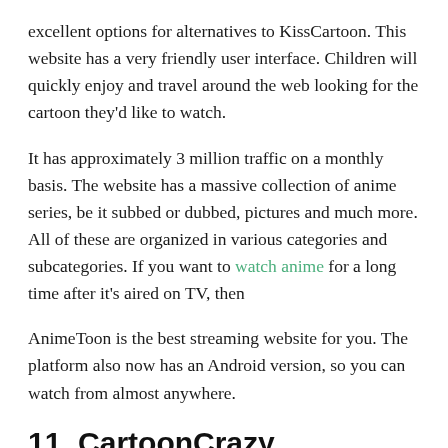excellent options for alternatives to KissCartoon. This website has a very friendly user interface. Children will quickly enjoy and travel around the web looking for the cartoon they'd like to watch.
It has approximately 3 million traffic on a monthly basis. The website has a massive collection of anime series, be it subbed or dubbed, pictures and much more. All of these are organized in various categories and subcategories. If you want to watch anime for a long time after it's aired on TV, then
AnimeToon is the best streaming website for you. The platform also now has an Android version, so you can watch from almost anywhere.
11. CartoonCrazy